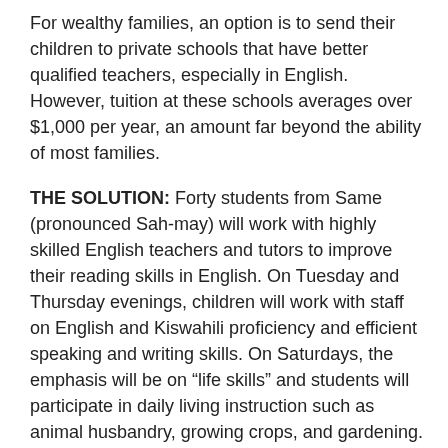For wealthy families, an option is to send their children to private schools that have better qualified teachers, especially in English. However, tuition at these schools averages over $1,000 per year, an amount far beyond the ability of most families.
THE SOLUTION: Forty students from Same (pronounced Sah-may) will work with highly skilled English teachers and tutors to improve their reading skills in English. On Tuesday and Thursday evenings, children will work with staff on English and Kiswahili proficiency and efficient speaking and writing skills. On Saturdays, the emphasis will be on “life skills” and students will participate in daily living instruction such as animal husbandry, growing crops, and gardening. The teachers leading this program will speak English at least part of the time so that the children can get used to its expressions and rhythms.
THE GOAL: In the short term, ETI aims to increase the academic success of the underserved, impoverished